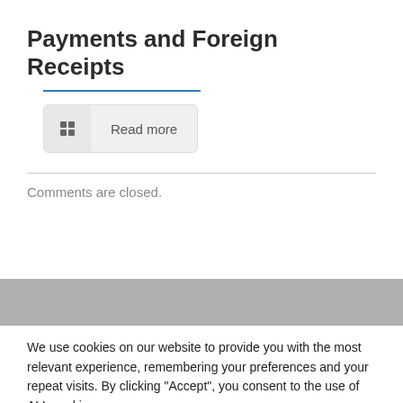Payments and Foreign Receipts
Read more
Comments are closed.
We use cookies on our website to provide you with the most relevant experience, remembering your preferences and your repeat visits. By clicking "Accept", you consent to the use of ALL cookies.
Cookies Settings
ACCEPT